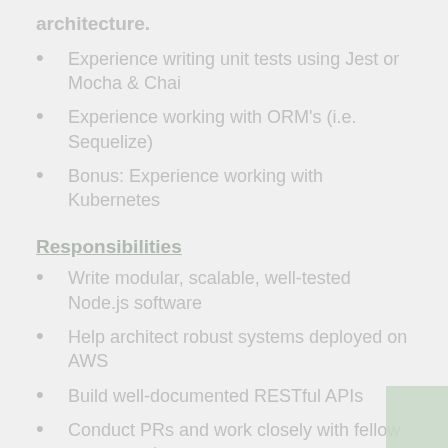architecture.
Experience writing unit tests using Jest or Mocha & Chai
Experience working with ORM's (i.e. Sequelize)
Bonus: Experience working with Kubernetes
Responsibilities
Write modular, scalable, well-tested Node.js software
Help architect robust systems deployed on AWS
Build well-documented RESTful APIs
Conduct PRs and work closely with fellow team members